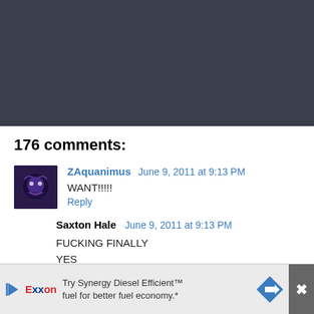[Figure (illustration): Dark blue-gray header/banner area at the top of the page]
176 comments:
ZAquanimus  June 9, 2011 at 9:13 PM
WANT!!!!!
Reply
Saxton Hale  June 9, 2011 at 9:13 PM
FUCKING FINALLY
YES
OH CELESTIA YES
[Figure (infographic): Advertisement banner: Try Synergy Diesel Efficient fuel for better fuel economy.* with Exxon logo and directional arrow sign]